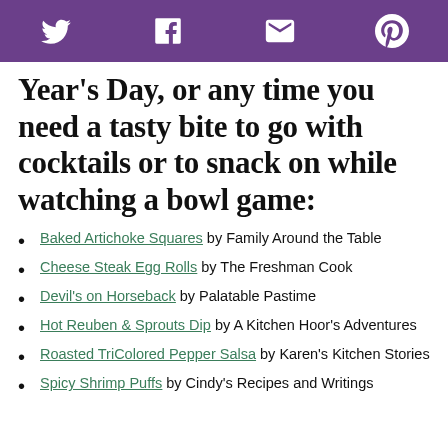[Twitter] [Facebook] [Email] [Pinterest] social share bar
Year's Day, or any time you need a tasty bite to go with cocktails or to snack on while watching a bowl game:
Baked Artichoke Squares by Family Around the Table
Cheese Steak Egg Rolls by The Freshman Cook
Devil's on Horseback by Palatable Pastime
Hot Reuben & Sprouts Dip by A Kitchen Hoor's Adventures
Roasted TriColored Pepper Salsa by Karen's Kitchen Stories
Spicy Shrimp Puffs by Cindy's Recipes and Writings